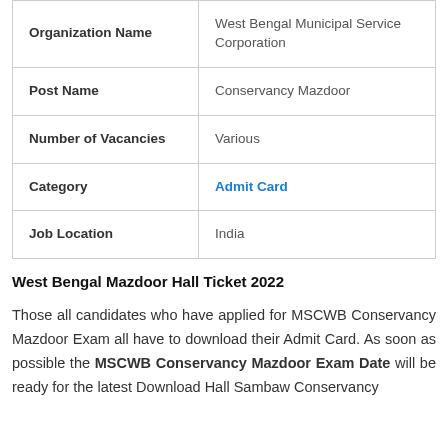| Field | Value |
| --- | --- |
| Organization Name | West Bengal Municipal Service Corporation |
| Post Name | Conservancy Mazdoor |
| Number of Vacancies | Various |
| Category | Admit Card |
| Job Location | India |
West Bengal Mazdoor Hall Ticket 2022
Those all candidates who have applied for MSCWB Conservancy Mazdoor Exam all have to download their Admit Card. As soon as possible the MSCWB Conservancy Mazdoor Exam Date will be ready for the latest Download Hall Sambaw Conservancy...